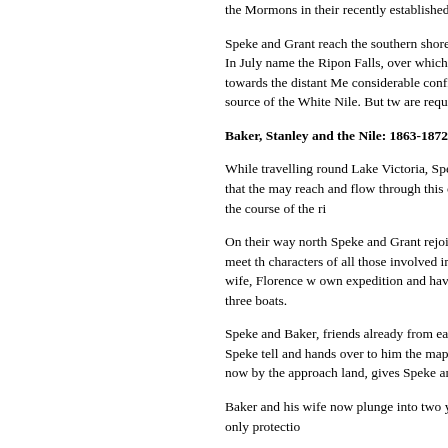the Mormons in their recently established t...
Speke and Grant reach the southern shore begin exploring up its western coast. In July name the Ripon Falls, over which water tur extremity of the lake towards the distant Me considerable confidence Speke can now m indeed the source of the White Nile. But tw are required to clinch it.
Baker, Stanley and the Nile: 1863-1872
While travelling round Lake Victoria, Speke lake to the northwest. He guesses that the may reach and flow through this other lake, local war from following the course of the ri
On their way north Speke and Grant rejoin Juba. Here, in February 1863, they meet th characters of all those involved in the Nile e and his intrepid Hungarian wife, Florence w own expedition and have travelled upstrean six attendants in three boats.
Speke and Baker, friends already from earl other with exemplary generosity. Speke tell and hands over to him the maps which he h Victoria. Baker, forced now by the approach land, gives Speke and Grant his three boat downstream.
Baker and his wife now plunge into two yea hostile tribes from whom their only protectio